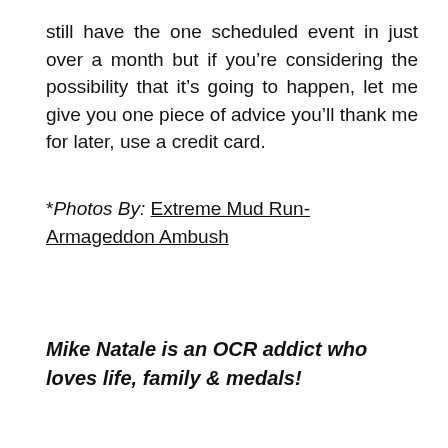still have the one scheduled event in just over a month but if you’re considering the possibility that it’s going to happen, let me give you one piece of advice you’ll thank me for later, use a credit card.
*Photos By: Extreme Mud Run- Armageddon Ambush
Mike Natale is an OCR addict who loves life, family & medals!